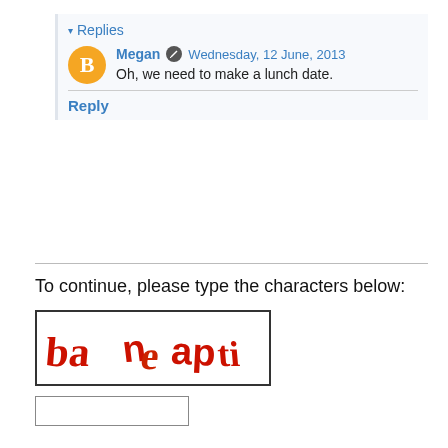▾ Replies
Megan  Wednesday, 12 June, 2013
Oh, we need to make a lunch date.
Reply
To continue, please type the characters below:
[Figure (other): CAPTCHA image showing distorted red text reading 'baneapti' or similar characters on white background, enclosed in a black border rectangle]
[Figure (other): Empty text input field for CAPTCHA entry]